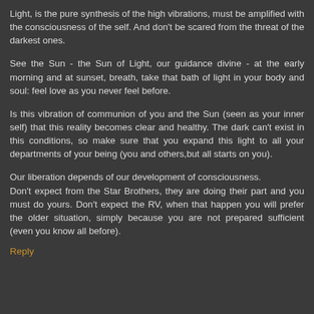Light, is the pure synthesis of the high vibrations, must be amplified with the consciousness of the self. And don't be scared from the threat of the darkest ones.
See the Sun - the Sun of Light, our guidance divine - at the early morning and at sunset, breath, take that bath of light in your body and soul: feel love as you never feel before.
Is this vibration of communion of you and the Sun (seen as your inner self) that this reality becomes clear and healthy. The dark can't exist in this conditions, so make sure that you expand this light to all your departments of your being (you and others,but all starts on you).
Our liberation depends of our development of consciousness.
Don't expect from the Star Brothers, they are doing their part and you must do yours. Don't expect the RV, when that happen you will prefer the older situation, simply because you are not prepared sufficient (even you know all before).
Reply